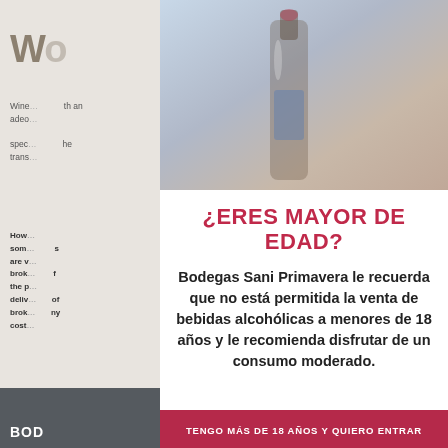[Figure (screenshot): Background webpage showing partial text in English about wine, with dark footer bar and partial logo text 'BOD' visible. A green button is partially visible at bottom right.]
¿ERES MAYOR DE EDAD?
Bodegas Sani Primavera le recuerda que no está permitida la venta de bebidas alcohólicas a menores de 18 años y le recomienda disfrutar de un consumo moderado.
TENGO MÁS DE 18 AÑOS Y QUIERO ENTRAR